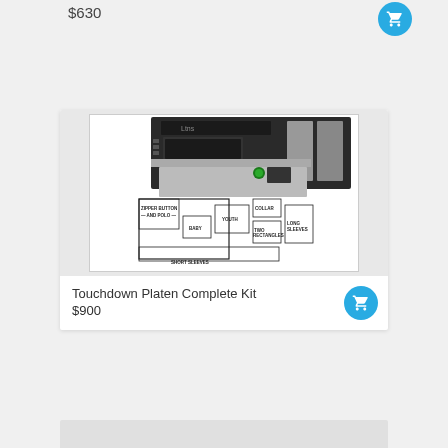$630
[Figure (photo): Product listing for Touchdown Platen Complete Kit showing a DTG printer with platen accessories and a diagram of various platen sizes including COLLAR, YOUTH, LONG SLEEVES, TWO RECTANGLES, SHORT SLEEVES, BABY, ZIPPER BUTTON AND POLO]
Touchdown Platen Complete Kit
$900